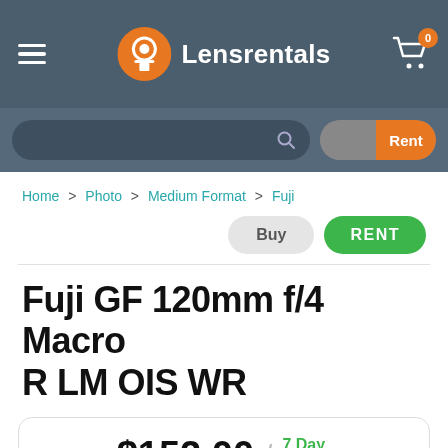Lensrentals
Home > Photo > Medium Format > Fuji
Buy  RENT
Fuji GF 120mm f/4 Macro R LM OIS WR
$152.00 / 7 Day Rental
Available To...